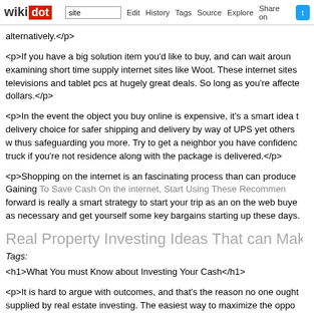wikidot | site | Edit | History | Tags | Source | Explore | Share on
alternatively.</p>
<p>If you have a big solution item you'd like to buy, and can wait around examining short time supply internet sites like Woot. These internet sites televisions and tablet pcs at hugely great deals. So long as you're affecte dollars.</p>
<p>In the event the object you buy online is expensive, it's a smart idea t delivery choice for safer shipping and delivery by way of UPS yet others w thus safeguarding you more. Try to get a neighbor you have confidenc truck if you're not residence along with the package is delivered.</p>
<p>Shopping on the internet is an fascinating process than can produce Gaining To Save Cash On the internet, Start Using These Recommenden forward is really a smart strategy to start your trip as an on the web buye as necessary and get yourself some key bargains starting up these days.</p>
Real Property Investing Ideas That can Make it e
Tags:
<h1>What You must Know about Investing Your Cash</h1>
<p>It is hard to argue with outcomes, and that's the reason no one ought supplied by real estate investing. The easiest way to maximize the oppo thing doable concerning the strategy of shopping for and promoting for re And Ensuring You realize What To Do .</p>
... text continues below ...